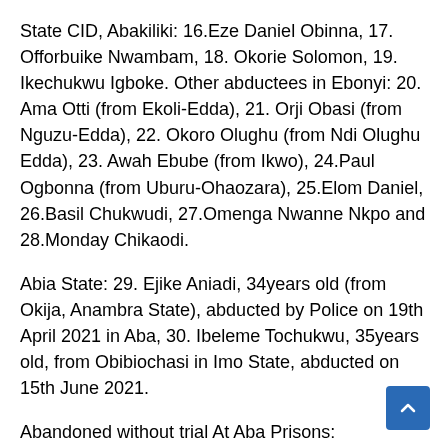State CID, Abakiliki: 16.Eze Daniel Obinna, 17. Offorbuike Nwambam, 18. Okorie Solomon, 19. Ikechukwu Igboke. Other abductees in Ebonyi: 20. Ama Otti (from Ekoli-Edda), 21. Orji Obasi (from Nguzu-Edda), 22. Okoro Olughu (from Ndi Olughu Edda), 23. Awah Ebube (from Ikwo), 24.Paul Ogbonna (from Uburu-Ohaozara), 25.Elom Daniel, 26.Basil Chukwudi, 27.Omenga Nwanne Nkpo and 28.Monday Chikaodi.
Abia State: 29. Ejike Aniadi, 34years old (from Okija, Anambra State), abducted by Police on 19th April 2021 in Aba, 30. Ibeleme Tochukwu, 35years old, from Obibiochasi in Imo State, abducted on 15th June 2021.
Abandoned without trial At Aba Prisons:
31. Michael Tochukwu Orji, 32.Onwumere Nwokeke,